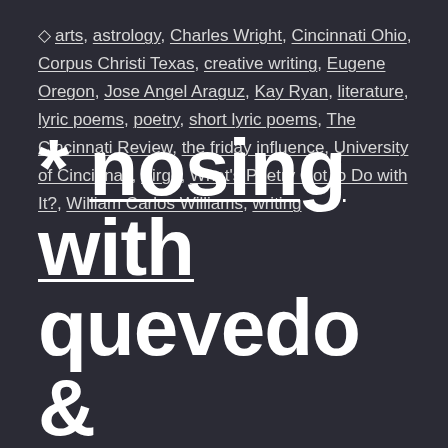◇ arts, astrology, Charles Wright, Cincinnati Ohio, Corpus Christi Texas, creative writing, Eugene Oregon, Jose Angel Araguz, Kay Ryan, literature, lyric poems, poetry, short lyric poems, The Cincinnati Review, the friday influence, University of Cincinnati, Virgo, What's Poetry Got to Do with It?, William Carlos Williams, writing
* nosing with quevedo &